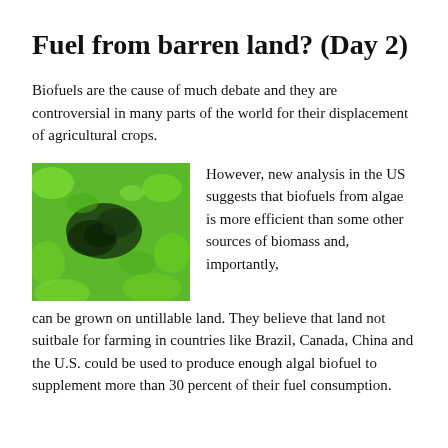Fuel from barren land? (Day 2)
Biofuels are the cause of much debate and they are controversial in many parts of the world for their displacement of agricultural crops.
[Figure (photo): Close-up photograph of green algae, showing dense bright green and dark green growth patterns.]
However, new analysis in the US suggests that biofuels from algae is more efficient than some other sources of biomass and, importantly, can be grown on untillable land. They believe that land not suitbale for farming in countries like Brazil, Canada, China and the U.S. could be used to produce enough algal biofuel to supplement more than 30 percent of their fuel consumption.